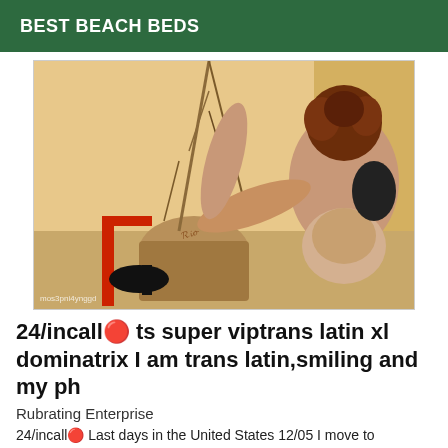BEST BEACH BEDS
[Figure (photo): Photograph of two people in an intimate pose, one with curly red-brown hair wearing black lingerie, the other bald, in a warmly lit room with dried branches in the background. Watermark text visible at bottom left.]
24/incall🔴 ts super viptrans latin xl dominatrix I am trans latin,smiling and my ph
Rubrating Enterprise
24/incall🔴 Last days in the United States 12/05 I move to